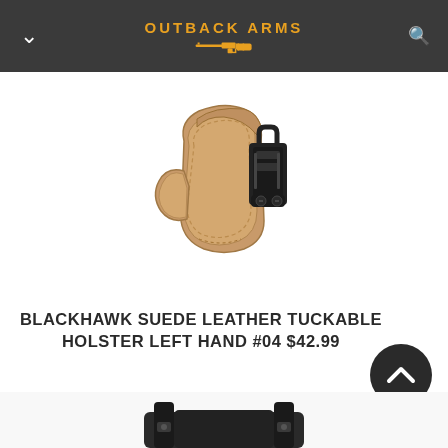OUTBACK ARMS
[Figure (photo): Tan/natural suede leather tuckable holster with black metal clip hardware, shown from a front-angle view on white background]
BLACKHAWK SUEDE LEATHER TUCKABLE HOLSTER LEFT HAND #04 $42.99
[Figure (photo): Partial view of a second holster product (dark/black) visible at the bottom of the page, cropped]